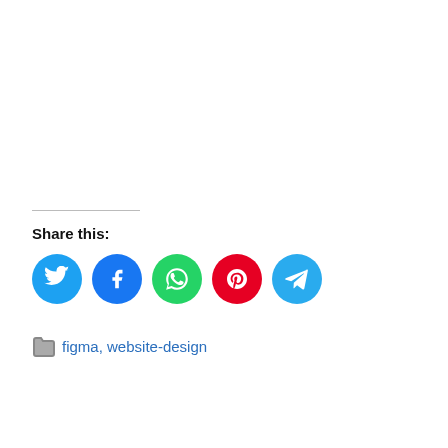Share this:
[Figure (infographic): Five circular social media share buttons: Twitter (blue), Facebook (dark blue), WhatsApp (green), Pinterest (red), Telegram (light blue)]
figma, website-design